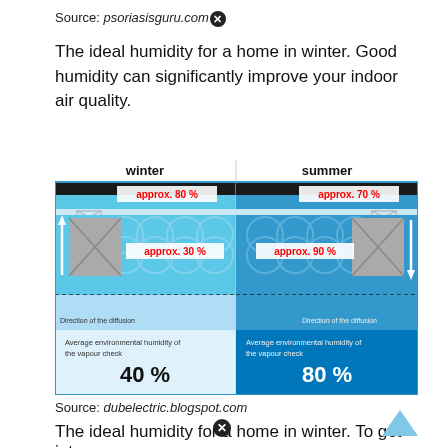Source: psoriasisguru.com
The ideal humidity for a home in winter. Good humidity can significantly improve your indoor air quality.
[Figure (infographic): Diagram comparing winter and summer humidity levels in a building cross-section. Winter panel shows approx. 80% at top, approx. 30% in insulation layer, approx. 50% below, with 40% average environmental humidity. Summer panel shows approx. 70% at top, approx. 90% in insulation, approx. 70% below, with 80% average environmental humidity.]
Source: dubelectric.blogspot.com
The ideal humidity for a home in winter. To get into